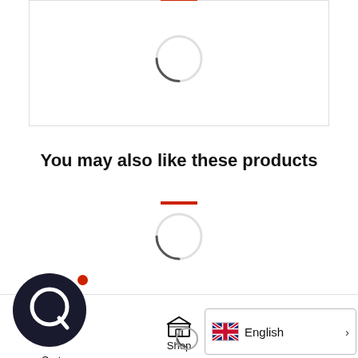[Figure (screenshot): Top bordered card area with a red bar at top and a loading spinner (circle with shadow arc) centered inside]
You may also like these products
[Figure (screenshot): Red horizontal bar followed by a loading spinner (circle with shadow arc)]
[Figure (screenshot): Bottom navigation bar with cart chat icon (dark circular logo with red dot), Shop store icon, and English language selector with UK flag and chevron, plus search circle icon]
Cart  Shop  English